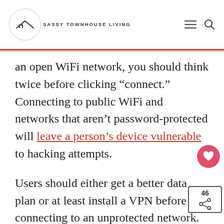SASSY TOWNHOUSE LIVING
an open WiFi network, you should think twice before clicking “connect.” Connecting to public WiFi and networks that aren’t password-protected will leave a person’s device vulnerable to hacking attempts.
Users should either get a better data plan or at least install a VPN before connecting to an unprotected network.